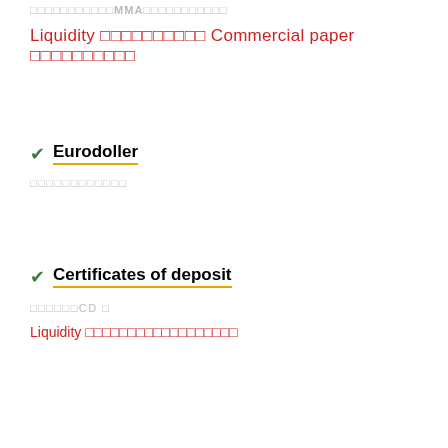□□□□□□□□□□□MMA□□□□□□□□□□□
Liquidity □□□□□□□□□□ Commercial paper □□□□□□□□□□
✔ Eurodoller
□□□□□□□□□□□□
✔ Certificates of deposit
□□□□□□CD □
Liquidity □□□□□□□□□□□□□□□□□□